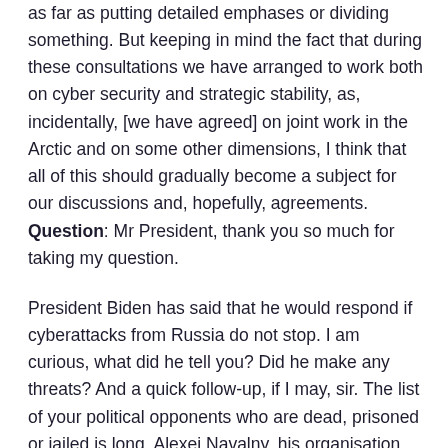as far as putting detailed emphases or dividing something. But keeping in mind the fact that during these consultations we have arranged to work both on cyber security and strategic stability, as, incidentally, [we have agreed] on joint work in the Arctic and on some other dimensions, I think that all of this should gradually become a subject for our discussions and, hopefully, agreements.
Question: Mr President, thank you so much for taking my question.
President Biden has said that he would respond if cyberattacks from Russia do not stop. I am curious, what did he tell you? Did he make any threats? And a quick follow-up, if I may, sir. The list of your political opponents who are dead, prisoned or jailed is long. Alexei Navalny, his organisation calls for free and fair elections and an end to corruption, but Russia has outlawed that organisation, calling it extremist. And you have now prevented anyone who supports him to run for office. So